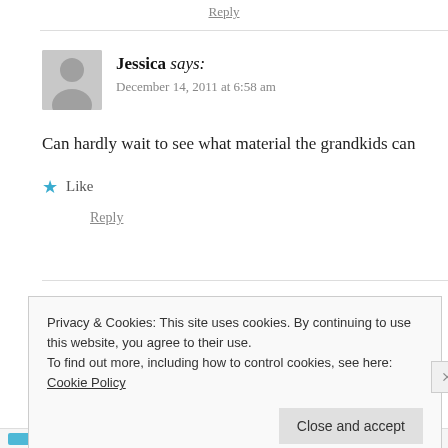Reply
Jessica says:
December 14, 2011 at 6:58 am
Can hardly wait to see what material the grandkids can
★ Like
Reply
Leave a Reply
Privacy & Cookies: This site uses cookies. By continuing to use this website, you agree to their use.
To find out more, including how to control cookies, see here: Cookie Policy
Close and accept